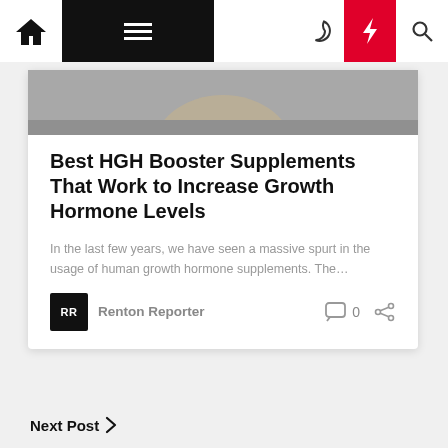Navigation bar with home icon, menu, moon icon, bolt icon, search icon
[Figure (photo): Partial photo of a person, cropped at top of card]
Best HGH Booster Supplements That Work to Increase Growth Hormone Levels
In the last few years, we have seen a massive spurt in the usage of human growth hormone supplements. The…
RR Renton Reporter  0
Next Post ›